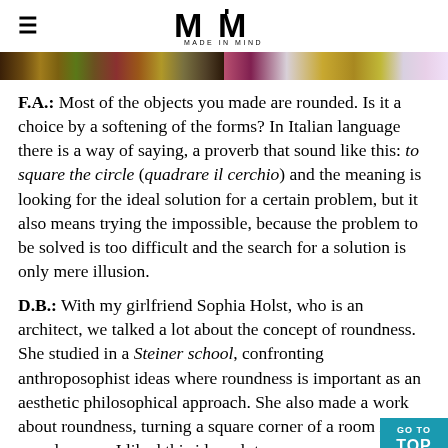Made in Mind logo with hamburger menu
[Figure (photo): Colorful image strip showing textile or fabric patterns in two sections]
F.A.: Most of the objects you made are rounded. Is it a choice by a softening of the forms? In Italian language there is a way of saying, a proverb that sound like this: to square the circle (quadrare il cerchio) and the meaning is looking for the ideal solution for a certain problem, but it also means trying the impossible, because the problem to be solved is too difficult and the search for a solution is only mere illusion.
D.B.: With my girlfriend Sophia Holst, who is an architect, we talked a lot about the concept of roundness. She studied in a Steiner school, confronting anthroposophist ideas where roundness is important as an aesthetic philosophical approach. She also made a work about roundness, turning a square corner of a room into a round corner. I liked this idea a lot and made me think about how so much of the world d...